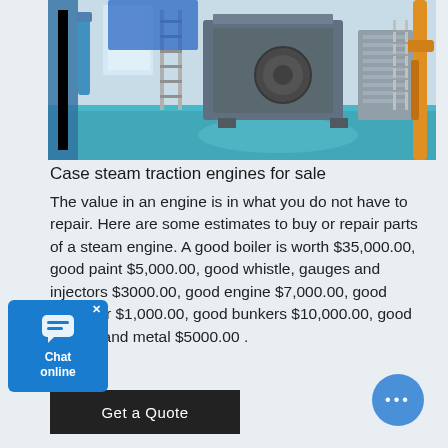[Figure (photo): Industrial steam engine / boiler facility interior with large machinery, blue floor, yellow pipes on the right, and blue structural elements on the left]
Case steam traction engines for sale
The value in an engine is in what you do not have to repair. Here are some estimates to buy or repair parts of a steam engine. A good boiler is worth $35,000.00, good paint $5,000.00, good whistle, gauges and injectors $3000.00, good engine $7,000.00, good governor $1,000.00, good bunkers $10,000.00, good wheels and metal $5000.00 .